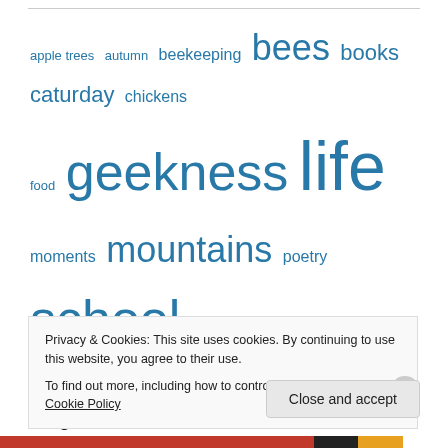[Figure (infographic): Tag cloud with words of varying sizes in blue: apple trees, autumn, beekeeping, bees, books, caturday, chickens, food, geekness, life, moments, mountains, poetry, school, spring, stars, TV, Uncategorized, winter]
Blogroll
alan in belfast
Privacy & Cookies: This site uses cookies. By continuing to use this website, you agree to their use.
To find out more, including how to control cookies, see here: Cookie Policy